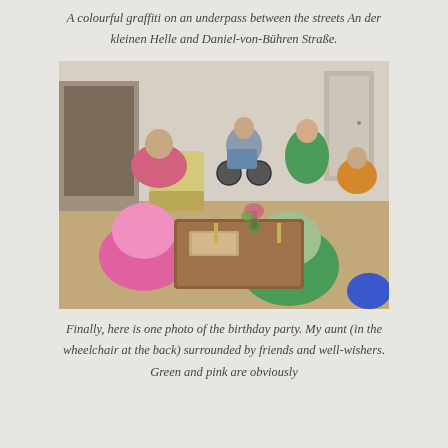A colourful graffiti on an underpass between the streets An der kleinen Helle and Daniel-von-Bühren Straße.
[Figure (photo): A group of elderly people sitting around a coffee table in a living room setting. One person is in a wheelchair at the back. People are wearing green and pink clothing. There is a flower vase on the table.]
Finally, here is one photo of the birthday party. My aunt (in the wheelchair at the back) surrounded by friends and well-wishers. Green and pink are obviously